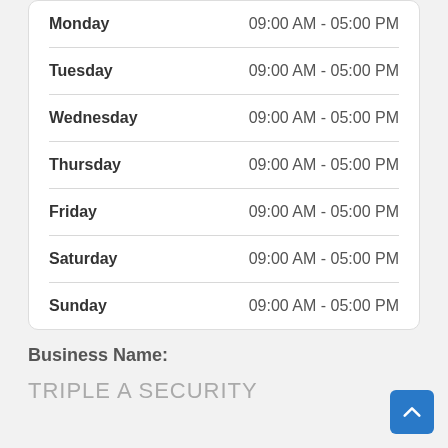| Day | Hours |
| --- | --- |
| Monday | 09:00 AM - 05:00 PM |
| Tuesday | 09:00 AM - 05:00 PM |
| Wednesday | 09:00 AM - 05:00 PM |
| Thursday | 09:00 AM - 05:00 PM |
| Friday | 09:00 AM - 05:00 PM |
| Saturday | 09:00 AM - 05:00 PM |
| Sunday | 09:00 AM - 05:00 PM |
Business Name:
TRIPLE A SECURITY